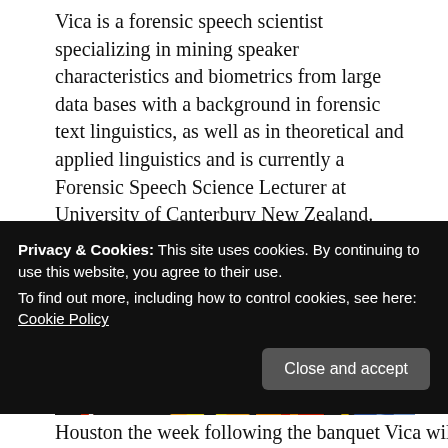Vica is a forensic speech scientist specializing in mining speaker characteristics and biometrics from large data bases with a background in forensic text linguistics, as well as in theoretical and applied linguistics and is currently a Forensic Speech Science Lecturer at University of Canterbury New Zealand.
Vica spent a lot of time working with the Houston transgender community while pursuing a PHD at Rice.
[Figure (photo): A colorful mural/artwork on a dark background showing geometric and floral patterns: a red and white triangle/arrow shape on the left, orange and yellow flower-like circular patterns in the center, and a blue circular snowflake-like pattern on the right, with a small gold diamond shape.]
Privacy & Cookies: This site uses cookies. By continuing to use this website, you agree to their use.
To find out more, including how to control cookies, see here: Cookie Policy
Houston the week following the banquet Vica will be